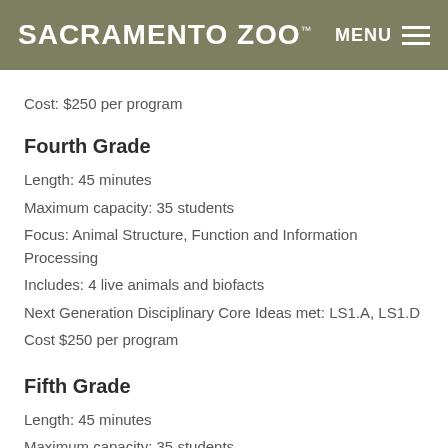SACRAMENTO ZOO™   MENU
Cost: $250 per program
Fourth Grade
Length: 45 minutes
Maximum capacity: 35 students
Focus: Animal Structure, Function and Information Processing
Includes: 4 live animals and biofacts
Next Generation Disciplinary Core Ideas met: LS1.A, LS1.D
Cost $250 per program
Fifth Grade
Length: 45 minutes
Maximum capacity: 35 students
Focus: Matter and Energy in Ecosystems